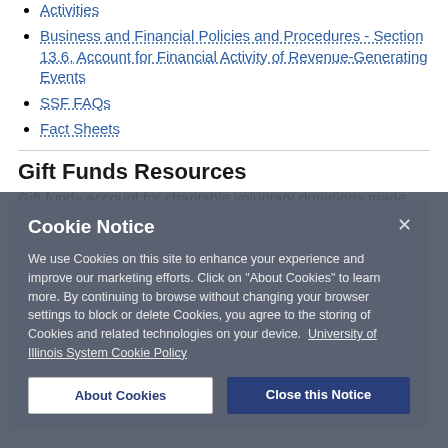Activities
Business and Financial Policies and Procedures - Section 13.6, Account for Financial Activity of Revenue-Generating Events
SSF FAQs
Fact Sheets
Gift Funds Resources
Gift funds account for charitable voluntary donations made...
[Figure (screenshot): Cookie Notice overlay dialog with title 'Cookie Notice', body text about cookie usage and University of Illinois System Cookie Policy link, and two buttons: 'About Cookies' and 'Close this Notice']